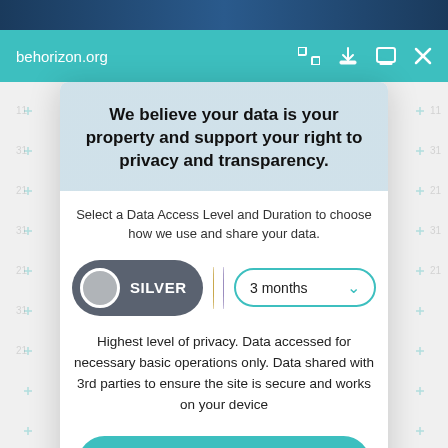[Figure (screenshot): Browser address bar with teal/green background showing behorizon.org URL with navigation icons]
[Figure (screenshot): Privacy consent modal overlay on top of a blurred news article background]
We believe your data is your property and support your right to privacy and transparency.
Select a Data Access Level and Duration to choose how we use and share your data.
SILVER
3 months
Highest level of privacy. Data accessed for necessary basic operations only. Data shared with 3rd parties to ensure the site is secure and works on your device
Save my preferences
Customize
Privacy policy